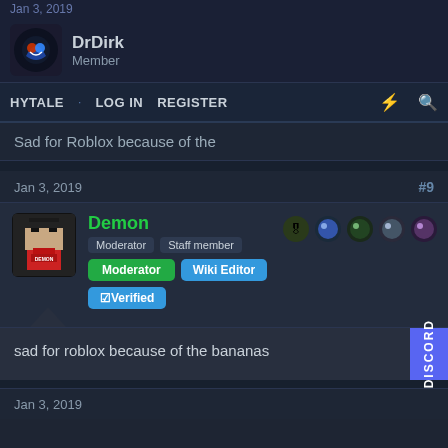DrDirk | Member
HYTALE · LOG IN REGISTER
Sad for Roblox because of the
Jan 3, 2019 #9
Demon | Moderator Staff member | Moderator | Wiki Editor | ☑Verified
sad for roblox because of the bananas
Jan 3, 2019